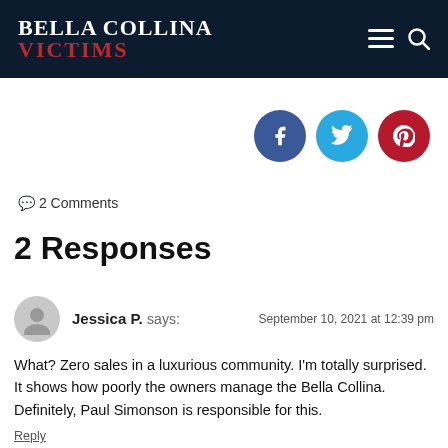BELLA COLLINA VICTIMS
[Figure (infographic): Social share buttons: Facebook (blue circle), Twitter (light blue circle), Pinterest (red circle)]
💬 2 Comments
2 Responses
Jessica P. says: — September 10, 2021 at 12:39 pm
What? Zero sales in a luxurious community. I'm totally surprised. It shows how poorly the owners manage the Bella Collina. Definitely, Paul Simonson is responsible for this.
Reply